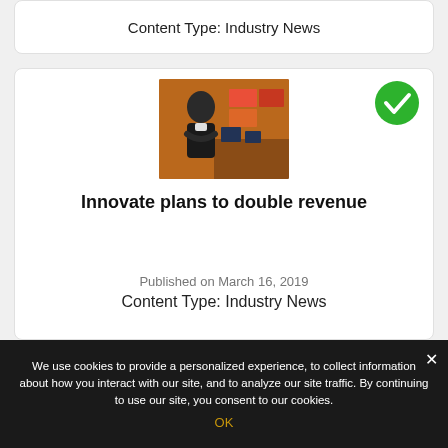Content Type: Industry News
[Figure (photo): Photo of a man in a dark suit with arms crossed in an office/newsroom setting with screens in the background]
Innovate plans to double revenue
Published on March 16, 2019
Content Type: Industry News
We use cookies to provide a personalized experience, to collect information about how you interact with our site, and to analyze our site traffic. By continuing to use our site, you consent to our cookies.
OK